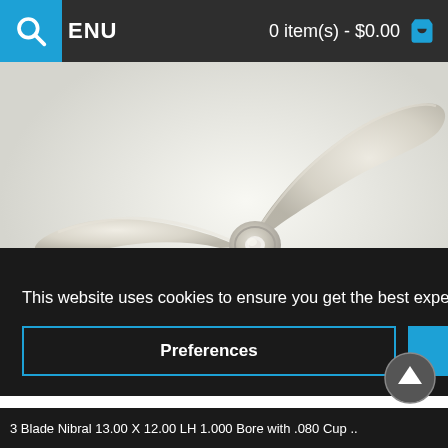MENU  0 item(s) - $0.00
[Figure (photo): A 3-blade boat propeller (nibral/plastic) photographed on a white/light background, showing three swept blades with a central hub]
Close
This website uses cookies to ensure you get the best experience on our website.
Preferences
Accept
3 Blade Nibral 13.00 X 12.00 LH 1.000 Bore with .080 Cup ..